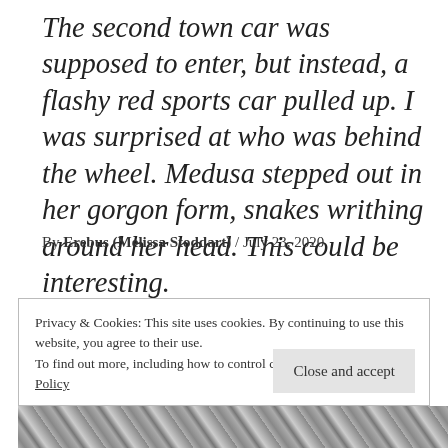The second town car was supposed to enter, but instead, a flashy red sports car pulled up. I was surprised at who was behind the wheel. Medusa stepped out in her gorgon form, snakes writhing around her head. This could be interesting.
By Erebus (Melissa Stoddart) / July 23, 2020
Privacy & Cookies: This site uses cookies. By continuing to use this website, you agree to their use.
To find out more, including how to control cookies, see here: Cookie Policy
[Figure (photo): Black and white photo strip at the bottom of the page, appearing to show scales or textured surface]